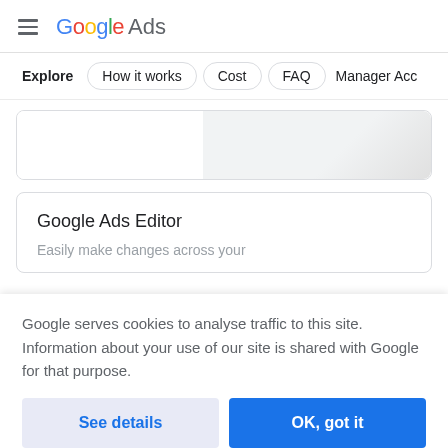Google Ads
Explore  How it works  Cost  FAQ  Manager Acc...
[Figure (screenshot): Partially visible card placeholder with gray gradient]
Google Ads Editor
Easily make changes across your
Google serves cookies to analyse traffic to this site. Information about your use of our site is shared with Google for that purpose.
See details  OK, got it